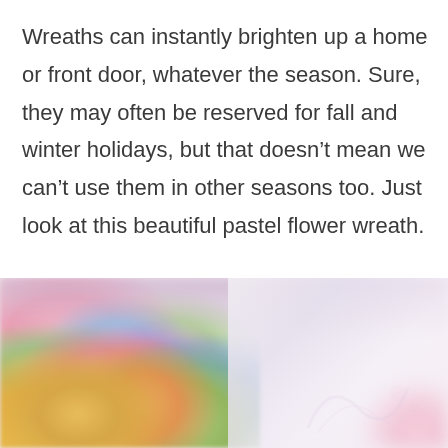Wreaths can instantly brighten up a home or front door, whatever the season. Sure, they may often be reserved for fall and winter holidays, but that doesn't mean we can't use them in other seasons too. Just look at this beautiful pastel flower wreath.
[Figure (photo): A close-up photograph of a colorful pastel flower wreath made of small fabric or paper flowers in yellow, orange, green, blue, pink, and purple hues, shown against a soft blurred light background.]